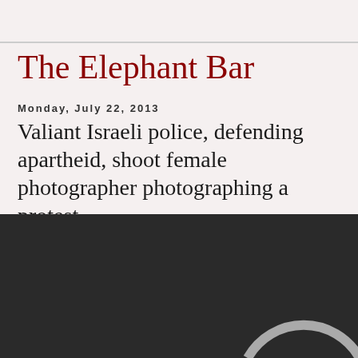The Elephant Bar
Monday, July 22, 2013
Valiant Israeli police, defending apartheid, shoot female photographer photographing a protest
[Figure (photo): Dark/black background photo, partially visible, showing what appears to be a circular arc shape (possibly a camera lens or similar object) in the lower right area]